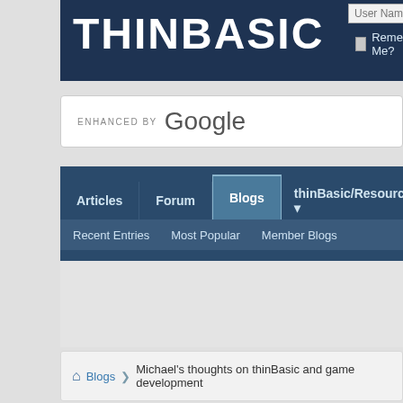[Figure (screenshot): thinBasic website header with dark navy background and white bold logo text 'THINBASIC']
User Name
Password
Remember Me?
[Figure (screenshot): Enhanced by Google search bar]
ENHANCED BY Google
Articles | Forum | Blogs | thinBasic/Resources
Recent Entries  Most Popular  Member Blogs
Blogs ❯ Michael's thoughts on thinBasic and game development